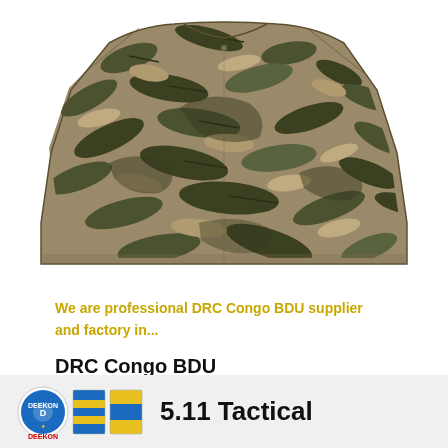DEEKON
[Figure (photo): Back view of a camouflage military BDU jacket with jungle/tropical leaf pattern in olive, tan, and dark green colors, displayed on white background]
We are professional DRC Congo BDU supplier and factory in...
DRC Congo BDU
[Figure (logo): DEEKON logo with circular badge and two tactical/ribbon stripe patches in blue, yellow, and red colors]
5.11 Tactical